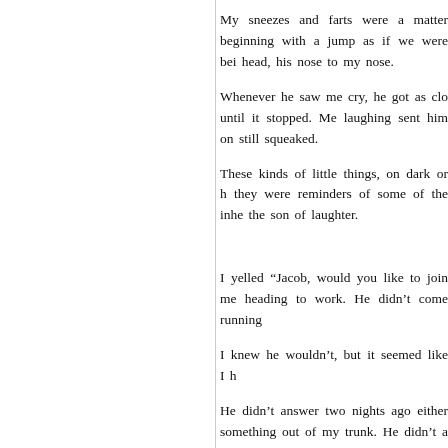My sneezes and farts were a matter beginning with a jump as if we were bei head, his nose to my nose.
Whenever he saw me cry, he got as clo until it stopped. Me laughing sent him on still squeaked.
These kinds of little things, on dark or h they were reminders of some of the inhe the son of laughter.
I yelled “Jacob, would you like to join me heading to work. He didn’t come running
I knew he wouldn’t, but it seemed like I h
He didn’t answer two nights ago either something out of my trunk. He didn’t a seconds after I came back inside. He did